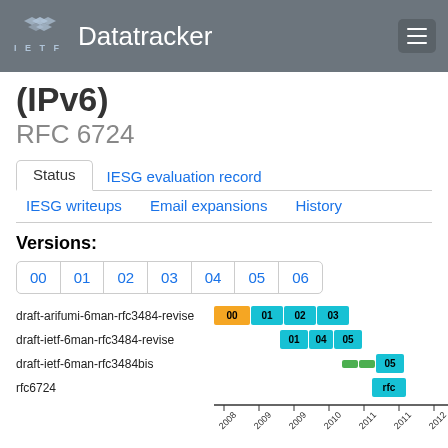IETF Datatracker
(IPv6)
RFC 6724
Status | IESG evaluation record | IESG writeups | Email expansions | History
Versions:
00 01 02 03 04 05 06
[Figure (bar-chart): Gantt-style timeline showing draft versions for draft-arifumi-6man-rfc3484-revise (00,01,02,03), draft-ietf-6man-rfc3484-revise (01,04,05), draft-ietf-6man-rfc3484bis (05,06), rfc6724, with x-axis years 2008–2012]